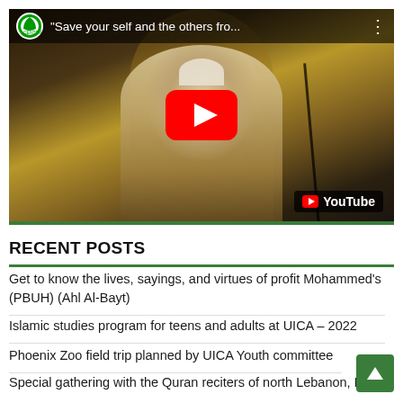[Figure (screenshot): YouTube video thumbnail showing a man in white Islamic attire speaking at a microphone with a play button overlay. Video title: "Save your self and the others fro..." from an Islamic center channel.]
RECENT POSTS
Get to know the lives, sayings, and virtues of profit Mohammed's (PBUH) (Ahl Al-Bayt)
Islamic studies program for teens and adults at UICA – 2022
Phoenix Zoo field trip planned by UICA Youth committee
Special gathering with the Quran reciters of north Lebanon, Dr